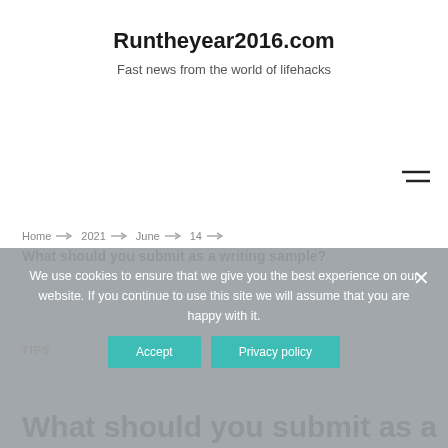Runtheyear2016.com
Fast news from the world of lifehacks
Home → 2021 → June → 14 →
What should you submit as a writing sample?
We use cookies to ensure that we give you the best experience on our website. If you continue to use this site we will assume that you are happy with it.
TIPS
What should you submit as a